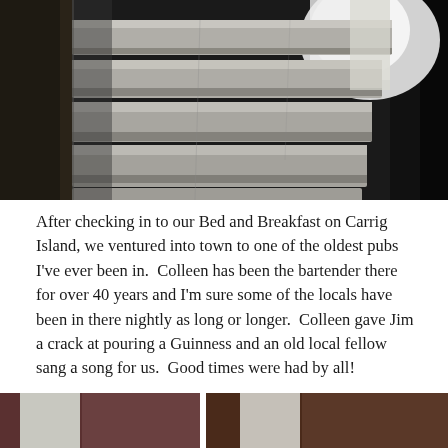[Figure (photo): Black and white photograph of stone staircase steps inside a dark stone structure, with bright light coming through a narrow opening at the top right.]
After checking in to our Bed and Breakfast on Carrig Island, we ventured into town to one of the oldest pubs I've ever been in.  Colleen has been the bartender there for over 40 years and I'm sure some of the locals have been in there nightly as long or longer.  Colleen gave Jim a crack at pouring a Guinness and an old local fellow sang a song for us.  Good times were had by all!
[Figure (photo): Partial view of two photos at the bottom of the page, partially cut off.]